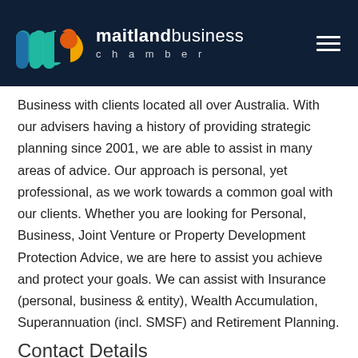[Figure (logo): Maitland Business Chamber logo — colourful geometric MBC monogram on dark navy background with text 'maitlandbusiness chamber' in white]
Business with clients located all over Australia. With our advisers having a history of providing strategic planning since 2001, we are able to assist in many areas of advice. Our approach is personal, yet professional, as we work towards a common goal with our clients. Whether you are looking for Personal, Business, Joint Venture or Property Development Protection Advice, we are here to assist you achieve and protect your goals. We can assist with Insurance (personal, business & entity), Wealth Accumulation, Superannuation (incl. SMSF) and Retirement Planning.
Contact Details